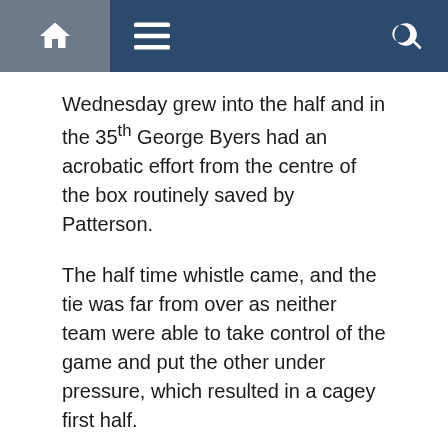Navigation bar with home, menu, and search icons
Wednesday grew into the half and in the 35th George Byers had an acrobatic effort from the centre of the box routinely saved by Patterson.
The half time whistle came, and the tie was far from over as neither team were able to take control of the game and put the other under pressure, which resulted in a cagey first half.
In the second half Sunderland came out the stronger as Jack Clarke went on a run from his own half teeing up Roberts who hit a shot straight at the goalkeeper form the edge of the area.
With a bumper crowd at Hillsborough, Wednesday heaped pressure on Sunderland eventually breaking the deadlock, Barry Bannan unlocked the